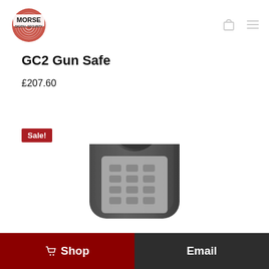[Figure (logo): Morse Digital Security fingerprint logo with text MORSE DIGITAL SECURITY]
GC2 Gun Safe
£207.60
Sale!
[Figure (photo): GC2 Gun Safe product photo showing a dark grey metal gun safe with a combination keypad and rotary dial mechanism]
Shop
Email